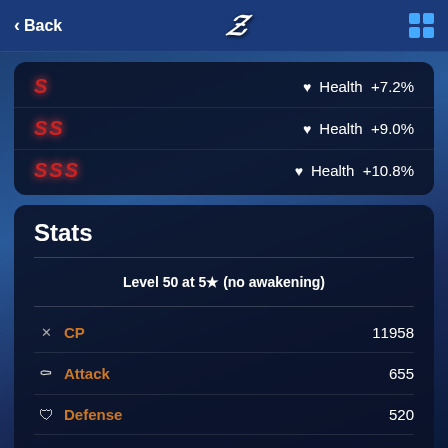< Back  [logo 7]  [grid icon]
| Grade | Stat | Value |
| --- | --- | --- |
| S | Health | +7.2% |
| SS | Health | +9.0% |
| SSS | Health | +10.8% |
Stats
Level 50 at 5★ (no awakening)
| Icon | Stat | Value |
| --- | --- | --- |
| × | CP | 11958 |
| ⚔ | Attack | 655 |
| 🛡 | Defense | 520 |
| ♥ | Health | 4427 |